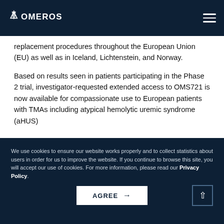OMEROS
replacement procedures throughout the European Union (EU) as well as in Iceland, Lichtenstein, and Norway.
Based on results seen in patients participating in the Phase 2 trial, investigator-requested extended access to OMS721 is now available for compassionate use to European patients with TMAs including atypical hemolytic uremic syndrome (aHUS)
We use cookies to ensure our website works properly and to collect statistics about users in order for us to improve the website. If you continue to browse this site, you will accept our use of cookies. For more information, please read our Privacy Policy.